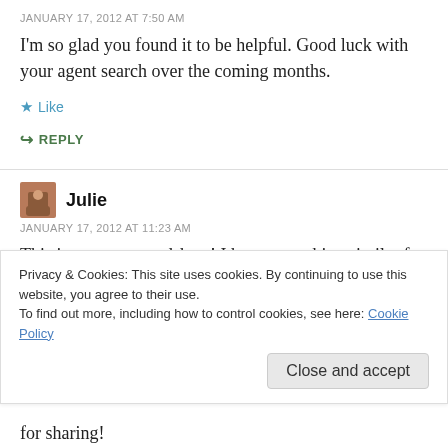JANUARY 17, 2012 AT 7:50 AM
I'm so glad you found it to be helpful. Good luck with your agent search over the coming months.
★ Like
↪ REPLY
Julie
JANUARY 17, 2012 AT 11:23 AM
This is a great spreadsheet! I have something similar for agents, but one thing I like about yours is that it also
Privacy & Cookies: This site uses cookies. By continuing to use this website, you agree to their use.
To find out more, including how to control cookies, see here: Cookie Policy
Close and accept
for sharing!